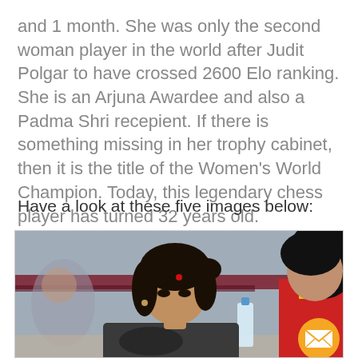and 1 month. She was only the second woman player in the world after Judit Polgar to have crossed 2600 Elo ranking. She is an Arjuna Awardee and also a Padma Shri recepient. If there is something missing in her trophy cabinet, then it is the title of the Women's World Champion. Today, this legendary chess player has turned 32 years old.
Have a look at these five images below:
[Figure (photo): A woman chess player concentrating over a game, seated at a table. Another person in a red and yellow jacket is visible on the right side. Background shows a blurred tournament setting with a red banner. An orange email icon button appears in the bottom-right corner of the image.]